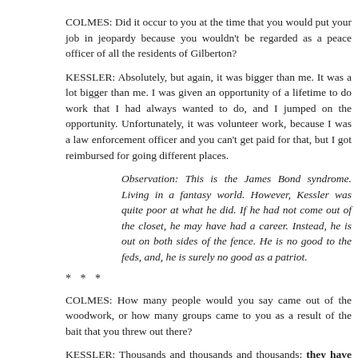COLMES: Did it occur to you at the time that you would put your job in jeopardy because you wouldn't be regarded as a peace officer of all the residents of Gilberton?
KESSLER: Absolutely, but again, it was bigger than me. It was a lot bigger than me. I was given an opportunity of a lifetime to do work that I had always wanted to do, and I jumped on the opportunity. Unfortunately, it was volunteer work, because I was a law enforcement officer and you can't get paid for that, but I got reimbursed for going different places.
Observation: This is the James Bond syndrome. Living in a fantasy world. However, Kessler was quite poor at what he did. If he had not come out of the closet, he may have had a career. Instead, he is out on both sides of the fence. He is no good to the feds, and, he is surely no good as a patriot.
* * *
COLMES: How many people would you say came out of the woodwork, or how many groups came to you as a result of the bait that you threw out there?
KESSLER: Thousands and thousands and thousands; they have no idea…
COLMES: And what? You turned them over to the feds?
KESSLER: My job was to find out if they were dangerous or not. If they were a dangerous group or deemed a threat to society, well then, we took care of business.